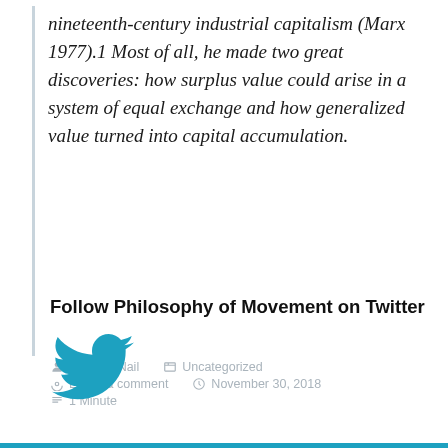nineteenth-century industrial capitalism (Marx 1977).1 Most of all, he made two great discoveries: how surplus value could arise in a system of equal exchange and how generalized value turned into capital accumulation.
Thomas Nail  Uncategorized  Leave a comment  November 30, 2018  1 Minute
Follow Philosophy of Movement on Twitter
[Figure (logo): Twitter bird logo in teal/blue color]